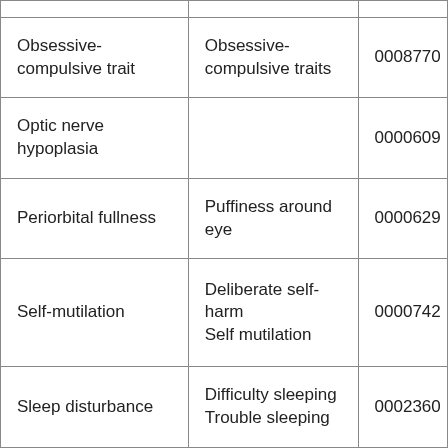| Obsessive-compulsive trait | Obsessive-compulsive traits | 0008770 |
| Optic nerve hypoplasia |  | 0000609 |
| Periorbital fullness | Puffiness around eye | 0000629 |
| Self-mutilation | Deliberate self-harm
Self mutilation | 0000742 |
| Sleep disturbance | Difficulty sleeping
Trouble sleeping | 0002360 |